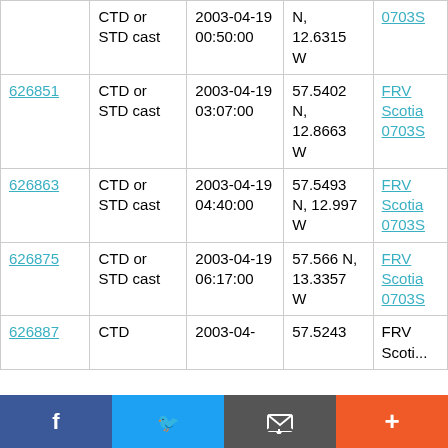| ID | Type | Date/Time | Location | Cruise |
| --- | --- | --- | --- | --- |
|  | CTD or STD cast | 2003-04-19 00:50:00 | N, 12.6315 W | FRV Scotia 0703S |
| 626851 | CTD or STD cast | 2003-04-19 03:07:00 | 57.5402 N, 12.8663 W | FRV Scotia 0703S |
| 626863 | CTD or STD cast | 2003-04-19 04:40:00 | 57.5493 N, 12.997 W | FRV Scotia 0703S |
| 626875 | CTD or STD cast | 2003-04-19 06:17:00 | 57.566 N, 13.3357 W | FRV Scotia 0703S |
| 626887 | CTD | 2003-04- | 57.5243 | FRV Scoti... |